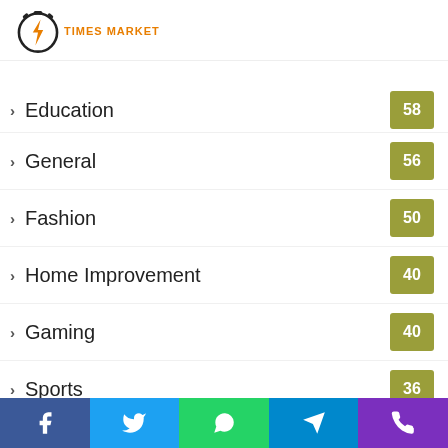Times Market logo
Education — 58
General — 56
Fashion — 50
Home Improvement — 40
Gaming — 40
Sports — 36
Travel — 36
Health & Fitness — 35
Real Estate — 26
Services
Gadgets — 20
Social share bar: Facebook, Twitter, WhatsApp, Telegram, Phone